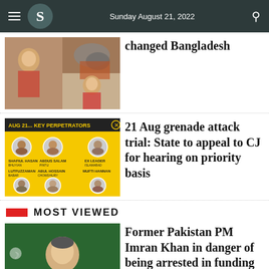Sunday August 21, 2022
[Figure (photo): News photo collage related to Bangladesh, showing people in distress and fire/smoke]
changed Bangladesh
[Figure (infographic): Yellow infographic titled 'AUG 21... KEY PERPETRATORS' showing headshots of individuals]
21 Aug grenade attack trial: State to appeal to CJ for hearing on priority basis
MOST VIEWED
[Figure (photo): Photo of former Pakistan PM Imran Khan gesturing, with Pakistan flag visible in background]
Former Pakistan PM Imran Khan in danger of being arrested in funding case